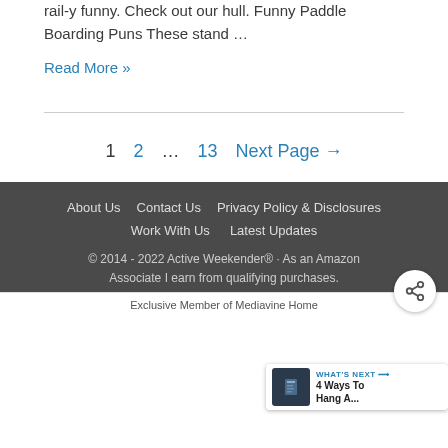rail-y funny. Check out our hull. Funny Paddle Boarding Puns These stand …
Read More »
1   2   …   13   Next Page →
About Us    Contact Us    Privacy Policy & Disclosures    Work With Us    Latest Updates
© 2014 - 2022 Active Weekender® · As an Amazon Associate I earn from qualifying purchases.
Exclusive Member of Mediavine Home